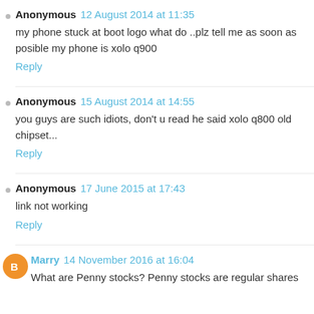Anonymous 12 August 2014 at 11:35
my phone stuck at boot logo what do ..plz tell me as soon as posible my phone is xolo q900
Reply
Anonymous 15 August 2014 at 14:55
you guys are such idiots, don't u read he said xolo q800 old chipset...
Reply
Anonymous 17 June 2015 at 17:43
link not working
Reply
Marry 14 November 2016 at 16:04
What are Penny stocks? Penny stocks are regular shares